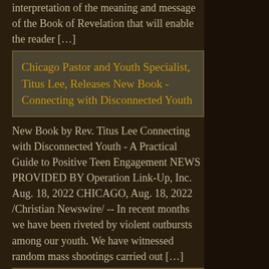interpretation of the meaning and message of the Book of Revelation that will enable the reader […]
Chicago Pastor and Youth Specialist, Titus Lee, Releases New Book - Connecting with Disconnected Youth
New Book by Rev. Titus Lee Connecting with Disconnected Youth - A Practical Guide to Positive Teen Engagement NEWS PROVIDED BY Operation Link-Up, Inc. Aug. 18, 2022 CHICAGO, Aug. 18, 2022 /Christian Newswire/ -- In recent months we have been riveted by violent outbursts among our youth. We have witnessed random mass shootings carried out […]
Homosexual Roots of Clergy Abuse Still Denied